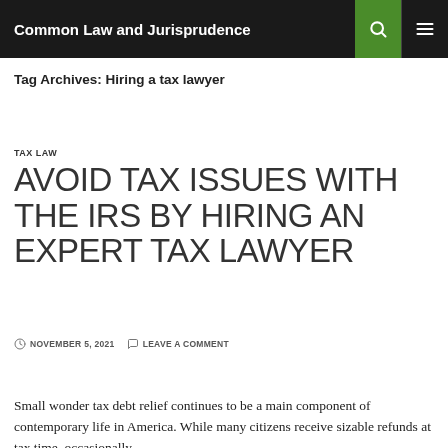Common Law and Jurisprudence
Tag Archives: Hiring a tax lawyer
TAX LAW
AVOID TAX ISSUES WITH THE IRS BY HIRING AN EXPERT TAX LAWYER
NOVEMBER 5, 2021   LEAVE A COMMENT
Small wonder tax debt relief continues to be a main component of contemporary life in America. While many citizens receive sizable refunds at tax time, occasionally